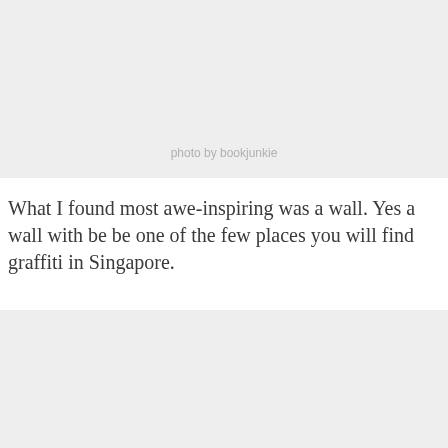[Figure (photo): Gray placeholder photo block at top of page]
photo by bookjunkie
What I found most awe-inspiring was a wall. Yes a wall with be be one of the few places you will find graffiti in Singapore.
[Figure (photo): Gray placeholder photo block at bottom of page]